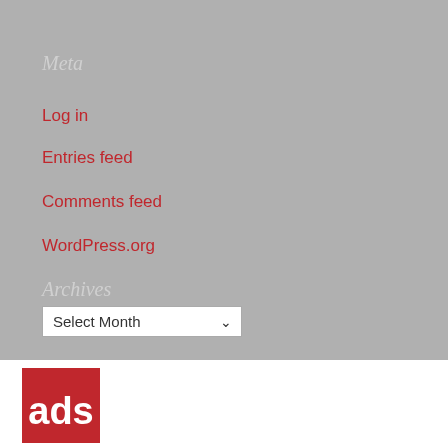Meta
Log in
Entries feed
Comments feed
WordPress.org
Archives
Select Month
[Figure (logo): ADS logo — red square with white bold lowercase letters 'ads']